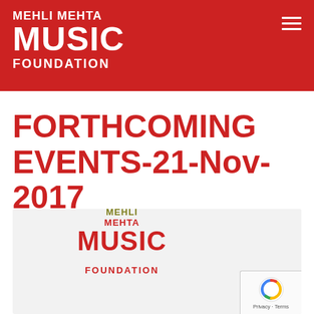MEHLI MEHTA MUSIC FOUNDATION
FORTHCOMING EVENTS-21-Nov-2017
[Figure (logo): Mehli Mehta Music Foundation logo with olive and red text on light gray background card]